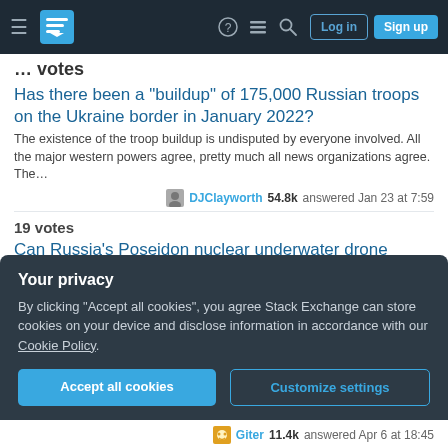Stack Exchange navigation bar with Log in and Sign up buttons
votes
Has there been a "buildup" of 175,000 Russian troops on the Ukraine border in January 2022?
The existence of the troop buildup is undisputed by everyone involved. All the major western powers agree, pretty much all news organizations agree. The…
DJClayworth 54.8k answered Jan 23 at 7:59
19 votes
Can Russia's Poseidon nuclear underwater drone create a 500 meter tidal wave?
Well, nobody has tested really, really big nuclear bombs underwater. But we do have some underwater tests we can look at. In 1946, the US tested a 21 kt…
CJR 4,309 answered May 3 at 12:38
Your privacy
By clicking "Accept all cookies", you agree Stack Exchange can store cookies on your device and disclose information in accordance with our Cookie Policy.
Accept all cookies
Customize settings
Giter 11.4k answered Apr 6 at 18:45